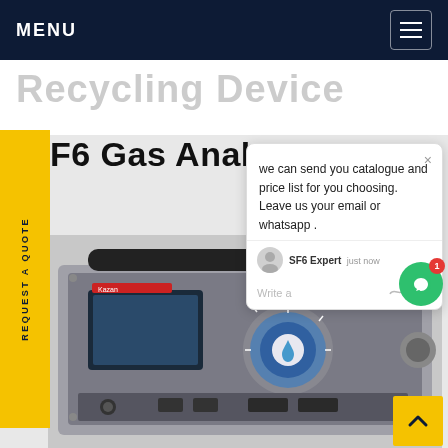MENU
Recycling Device
F6 Gas Analyzer
REQUEST A QUOTE
we can send you catalogue and price list for you choosing.
Leave us your email or whatsapp .
SF6 Expert   just now
Write a
[Figure (photo): SF6 Gas Analyzer device — a portable grey metal instrument with a handle (antenna-like), a small LCD screen on the left, a large blue/silver rotary knob in the center, and control buttons at the bottom.]